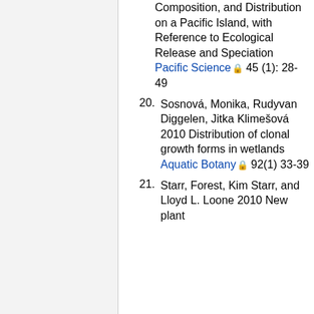Composition, and Distribution on a Pacific Island, with Reference to Ecological Release and Speciation Pacific Science 45 (1): 28-49
20. Sosnová, Monika, Rudyvan Diggelen, Jitka Klimešová 2010 Distribution of clonal growth forms in wetlands Aquatic Botany 92(1) 33-39
21. Starr, Forest, Kim Starr, and Lloyd L. Loone 2010 New plant...